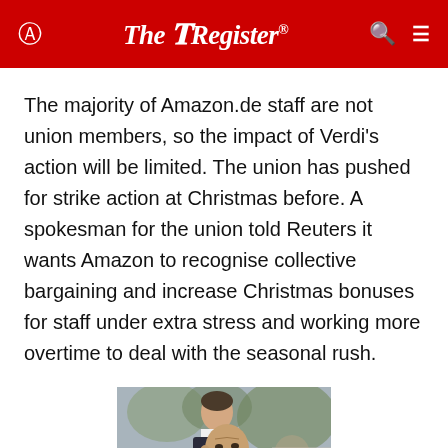The Register
The majority of Amazon.de staff are not union members, so the impact of Verdi's action will be limited. The union has pushed for strike action at Christmas before. A spokesman for the union told Reuters it wants Amazon to recognise collective bargaining and increase Christmas bonuses for staff under extra stress and working more overtime to deal with the seasonal rush.
[Figure (photo): Photo of two men in suits, one bald man in foreground smiling (appears to be Jeff Bezos), another taller man in background wearing a suit and tie, outdoor setting with trees visible]